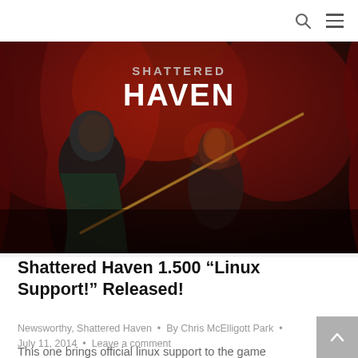search and menu icons
[Figure (illustration): Dark fantasy game artwork for 'Shattered Haven' showing two characters — a bald, menacing figure and a woman with red-lit hair holding a staff/spear — against a red and black background with stylized 'SHATTERED HAVEN' title text at the top.]
Shattered Haven 1.500 “Linux Support!” Released!
Newsworthy, Shattered Haven • By Chris McElligott Park • July 11, 2014 • Leave a comment
This one brings official linux support to the game for the first time, as well as a 64bit build for OSX